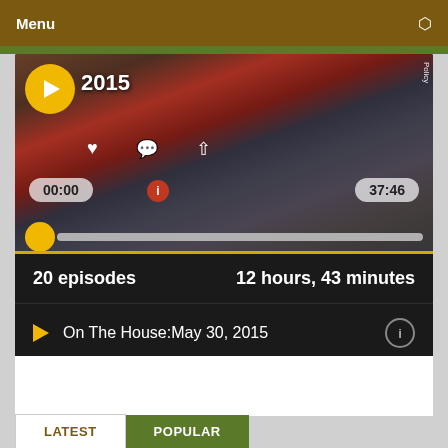Menu
[Figure (screenshot): Video player interface showing year 2015, play controls, time display 00:00 and 37:46, progress bar with yellow scrubber, heart/comment/share icons, and policy text on right side.]
20 episodes    12 hours, 43 minutes
On The House:May 30, 2015
LATEST
POPULAR